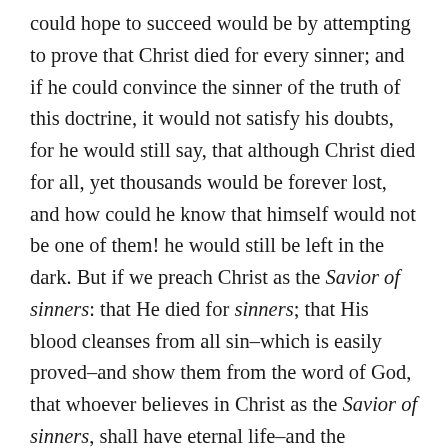could hope to succeed would be by attempting to prove that Christ died for every sinner; and if he could convince the sinner of the truth of this doctrine, it would not satisfy his doubts, for he would still say, that although Christ died for all, yet thousands would be forever lost, and how could he know that himself would not be one of them! he would still be left in the dark. But if we preach Christ as the Savior of sinners: that He died for sinners; that His blood cleanses from all sin–which is easily proved–and show them from the word of God, that whoever believes in Christ as the Savior of sinners, shall have eternal life–and the Scripture proofs are abundant–the work of preaching the gospel is, in this respect, easy. We have no need to resort to theological niceties. The whole business of inviting sinners to Christ is plain, and our work is ready prepared to our hand.